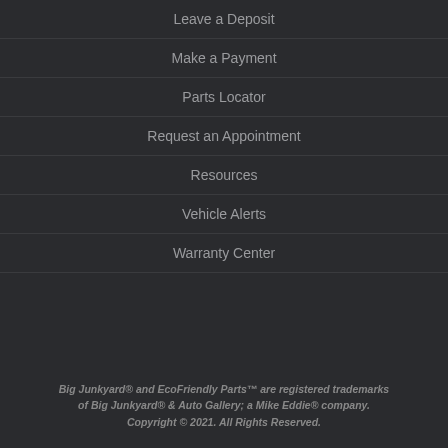Leave a Deposit
Make a Payment
Parts Locator
Request an Appointment
Resources
Vehicle Alerts
Warranty Center
Big Junkyard® and EcoFriendly Parts™ are registered trademarks of Big Junkyard® & Auto Gallery; a Mike Eddie® company. Copyright © 2021. All Rights Reserved.